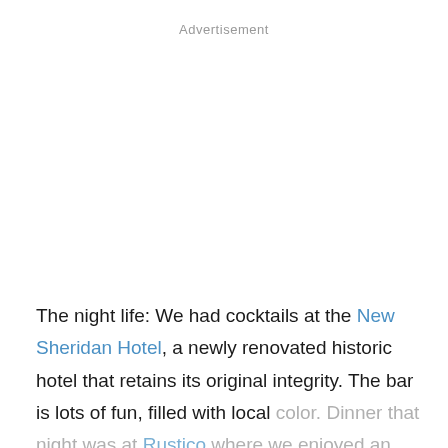Advertisement
The night life: We had cocktails at the New Sheridan Hotel, a newly renovated historic hotel that retains its original integrity. The bar is lots of fun, filled with local color. Dinner that night was at Rustico where we enjoyed an Italian feast with owner– Paolo, pairing a